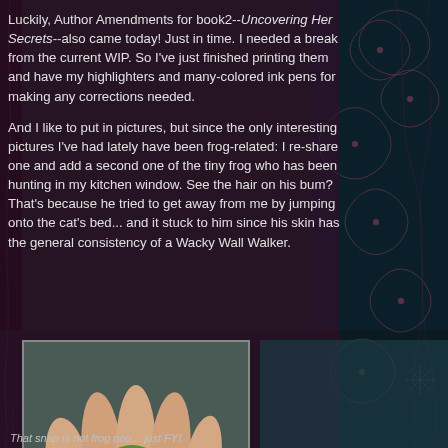Luckily, Author Amendments for book2--Uncovering Her Secrets--also came today! Just in time. I needed a break from the current WIP. So I've just finished printing them and have my highlighters and many-colored ink pens for making any corrections needed.

And I like to put in pictures, but since the only interesting pictures I've had lately have been frog-related: I re-share one and add a second one of the tiny frog who has been hunting in my kitchen window. See the hair on his bum? That's because he tried to get away from me by jumping onto the cat's bed... and it stuck to him since his skin has the general consistency of a Wacky Wall Walker.
[Figure (photo): A small green tree frog sitting in the palm of a person's hand, viewed from above. The frog appears to have some cat hair stuck to it.]
That snap is not frog poo... just FYI.